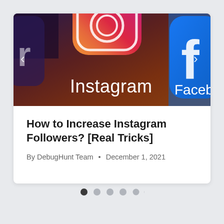[Figure (photo): Close-up photo of a smartphone screen showing Instagram and Facebook app icons. The Instagram icon with its gradient pink/orange/yellow color scheme is prominently displayed in the center, with text 'Instagram' visible. A partial blue Facebook icon appears on the right edge. Navigation arrows (< and >) are visible on the left and right sides of the image.]
How to Increase Instagram Followers? [Real Tricks]
By DebugHunt Team • December 1, 2021